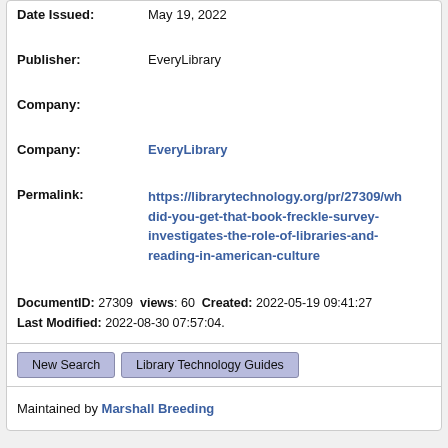| Date Issued: | May 19, 2022 |
| Publisher: | EveryLibrary |
| Company: |  |
| Company: | EveryLibrary |
| Permalink: | https://librarytechnology.org/pr/27309/wh did-you-get-that-book-freckle-survey-investigates-the-role-of-libraries-and-reading-in-american-culture |
DocumentID: 27309 views: 60 Created: 2022-05-19 09:41:27 Last Modified: 2022-08-30 07:57:04.
New Search   Library Technology Guides
Maintained by Marshall Breeding